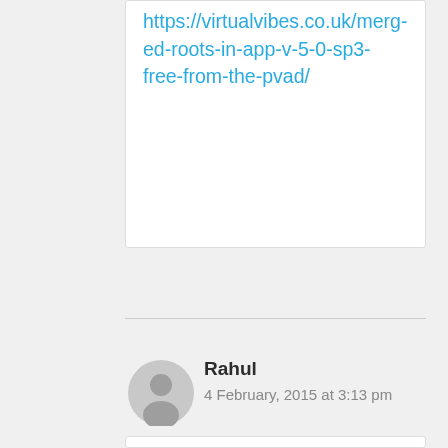https://virtualvibes.co.uk/merged-roots-in-app-v-5-0-sp3-free-from-the-pvad/
Rahul
4 February, 2015 at 3:13 pm
Hi Thamim, your blog is very useful to learn AppV. I am facing a problem with appv 5.0 SP3 sequencer installation on windows 8.1. Even if I reboot, on first aplication monitoring, it shows a prompt a